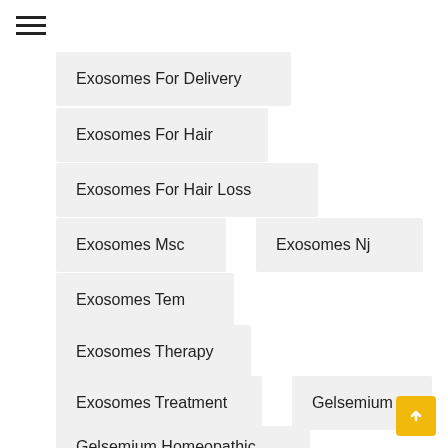[Figure (other): Hamburger menu icon (three horizontal lines)]
Exosomes For Delivery
Exosomes For Hair
Exosomes For Hair Loss
Exosomes Msc
Exosomes Nj
Exosomes Tem
Exosomes Therapy
Exosomes Treatment
Gelsemium
Gelsemium Homeopathic